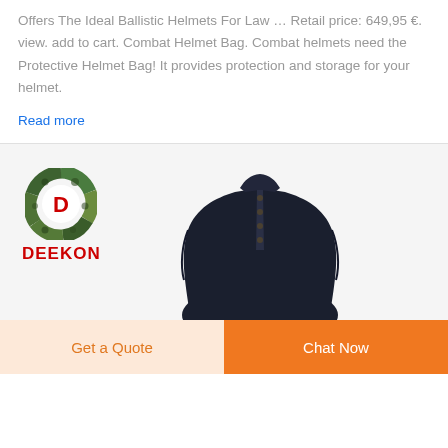Offers The Ideal Ballistic Helmets For Law ... Retail price: 649,95 €. view. add to cart. Combat Helmet Bag. Combat helmets need the Protective Helmet Bag! It provides protection and storage for your helmet.
Read more
[Figure (logo): DEEKON logo — circular camo-pattern ring with red letter D in center, with DEEKON text in red below]
[Figure (photo): Dark navy blue zip/button-up military-style sweater or jacket, torso view without head, shown against white background]